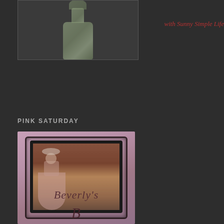[Figure (photo): A glass bottle/perfume bottle photographed against a dark background, upper left portion of page]
with Sunny Simple Life
PINK SATURDAY
[Figure (photo): A pink-toned vintage portrait image showing a woman in period dress, with ornate dark border frame. Below the portrait is cursive text reading 'Beverly's' and a large decorative cursive letter 'B'.]